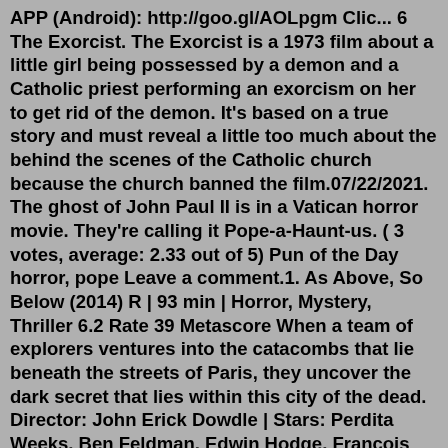APP (Android): http://goo.gl/AOLpgm Clic... 6 The Exorcist. The Exorcist is a 1973 film about a little girl being possessed by a demon and a Catholic priest performing an exorcism on her to get rid of the demon. It's based on a true story and must reveal a little too much about the behind the scenes of the Catholic church because the church banned the film.07/22/2021. The ghost of John Paul II is in a Vatican horror movie. They're calling it Pope-a-Haunt-us. ( 3 votes, average: 2.33 out of 5) Pun of the Day horror, pope Leave a comment.1. As Above, So Below (2014) R | 93 min | Horror, Mystery, Thriller 6.2 Rate 39 Metascore When a team of explorers ventures into the catacombs that lie beneath the streets of Paris, they uncover the dark secret that lies within this city of the dead. Director: John Erick Dowdle | Stars: Perdita Weeks, Ben Feldman, Edwin Hodge, François Civil8 Cardinal Patrick Henry Roark (Sin City / 2005) Screen icon Rutger Hauer portrayed the infamous Cardinal Roark in the big-screen adaptation of the graphic novel Sin City. This